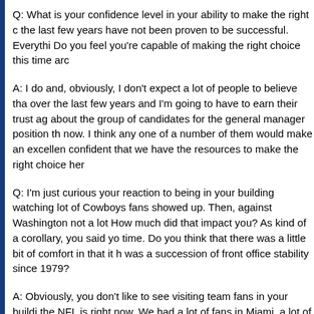Q: What is your confidence level in your ability to make the right choice this time around? Decisions over the last few years have not been proven to be successful. Everything you've done has not worked. Do you feel you're capable of making the right choice this time around?
A: I do and, obviously, I don't expect a lot of people to believe that given what's happened over the last few years and I'm going to have to earn their trust again. But when I look at and think about the group of candidates for the general manager position that we have interviewed up until now. I think any one of a number of them would make an excellent general manager and I'm confident that we have the resources to make the right choice here.
Q: I'm just curious your reaction to being in your building watching the Cowboys game and a lot of Cowboys fans showed up. Then, against Washington not a lot of Washington fans showed up. How much did that impact you? As kind of a corollary, you said you got to look in the mirror this time. Do you think that there was a little bit of comfort in that it had been the same people, there was a succession of front office stability since 1979?
A: Obviously, you don't like to see visiting team fans in your building and it's kind of a reality of the NFL is right now. We had a lot of fans in Miami, a lot of fans in different places. It's certainly exacerbated by the fact that we had a poor record this year, but ce...